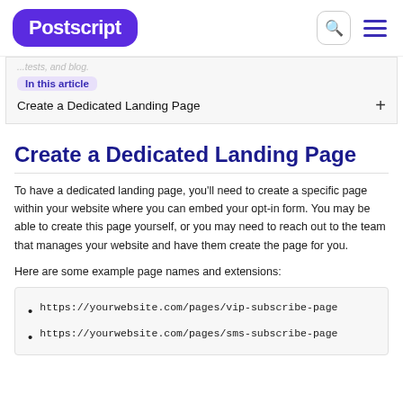Postscript
...tests, and blog.
In this article
Create a Dedicated Landing Page +
Create a Dedicated Landing Page
To have a dedicated landing page, you'll need to create a specific page within your website where you can embed your opt-in form. You may be able to create this page yourself, or you may need to reach out to the team that manages your website and have them create the page for you.
Here are some example page names and extensions:
https://yourwebsite.com/pages/vip-subscribe-page
https://yourwebsite.com/pages/sms-subscribe-page